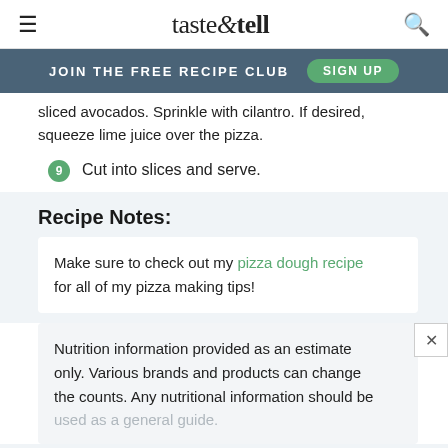taste & tell
JOIN THE FREE RECIPE CLUB   SIGN UP
sliced avocados. Sprinkle with cilantro. If desired, squeeze lime juice over the pizza.
9  Cut into slices and serve.
Recipe Notes:
Make sure to check out my pizza dough recipe for all of my pizza making tips!
Nutrition information provided as an estimate only. Various brands and products can change the counts. Any nutritional information should be used as a general guide.